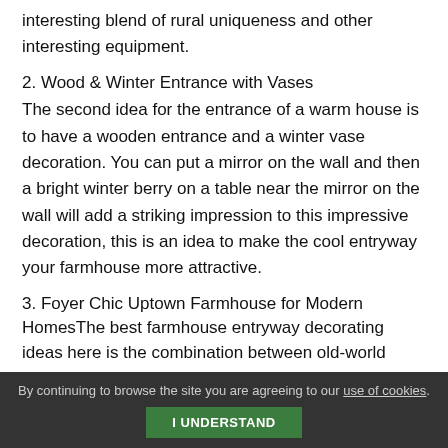interesting blend of rural uniqueness and other interesting equipment.
2. Wood & Winter Entrance with Vases
The second idea for the entrance of a warm house is to have a wooden entrance and a winter vase decoration. You can put a mirror on the wall and then a bright winter berry on a table near the mirror on the wall will add a striking impression to this impressive decoration, this is an idea to make the cool entryway your farmhouse more attractive.
3. Foyer Chic Uptown Farmhouse for Modern HomesThe best farmhouse entryway decorating ideas here is the combination between old-world values and
By continuing to browse the site you are agreeing to our use of cookies. I UNDERSTAND